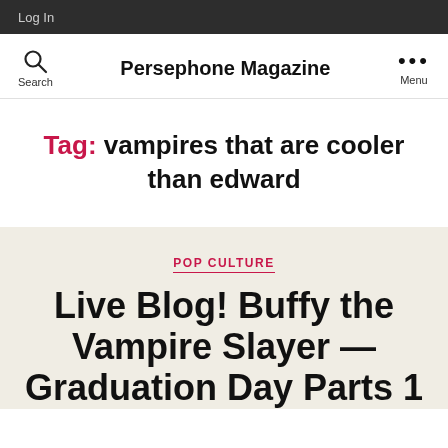Log In
Persephone Magazine
Tag: vampires that are cooler than edward
POP CULTURE
Live Blog! Buffy the Vampire Slayer — Graduation Day Parts 1